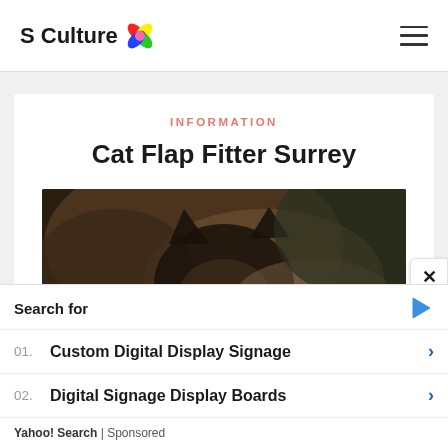S Culture
INFORMATION
Cat Flap Fitter Surrey
[Figure (photo): Close-up photograph of a cat, dark brown and black fur, blurred background in olive/brown tones]
Search for
01. Custom Digital Display Signage
02. Digital Signage Display Boards
Yahoo! Search | Sponsored